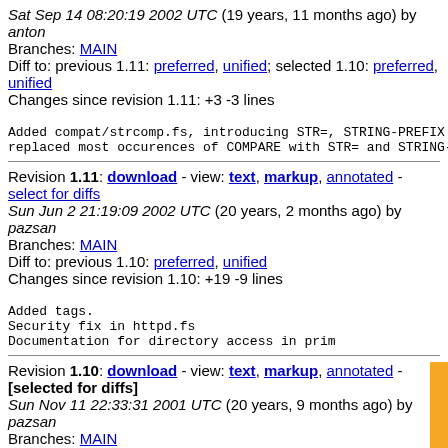Sat Sep 14 08:20:19 2002 UTC (19 years, 11 months ago) by anton
Branches: MAIN
Diff to: previous 1.11: preferred, unified; selected 1.10: preferred, unified
Changes since revision 1.11: +3 -3 lines
Added compat/strcomp.fs, introducing STR=, STRING-PREFIX
replaced most occurences of COMPARE with STR= and STRING-
Revision 1.11: download - view: text, markup, annotated - select for diffs
Sun Jun 2 21:19:09 2002 UTC (20 years, 2 months ago) by pazsan
Branches: MAIN
Diff to: previous 1.10: preferred, unified
Changes since revision 1.10: +19 -9 lines
Added tags.
Security fix in httpd.fs
Documentation for directory access in prim
Revision 1.10: download - view: text, markup, annotated - [selected for diffs]
Sun Nov 11 22:33:31 2001 UTC (20 years, 9 months ago) by pazsan
Branches: MAIN
Diff to: previous 1.9: preferred, unified